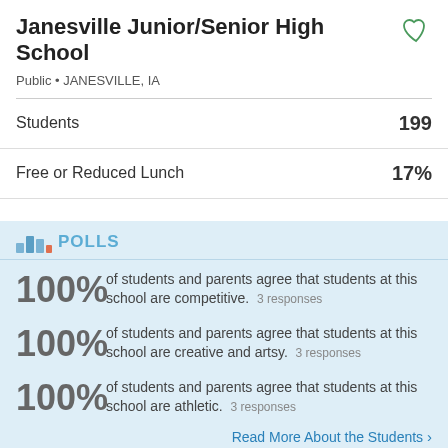Janesville Junior/Senior High School
Public • JANESVILLE, IA
|  |  |
| --- | --- |
| Students | 199 |
| Free or Reduced Lunch | 17% |
POLLS
100% of students and parents agree that students at this school are competitive. 3 responses
100% of students and parents agree that students at this school are creative and artsy. 3 responses
100% of students and parents agree that students at this school are athletic. 3 responses
Read More About the Students >